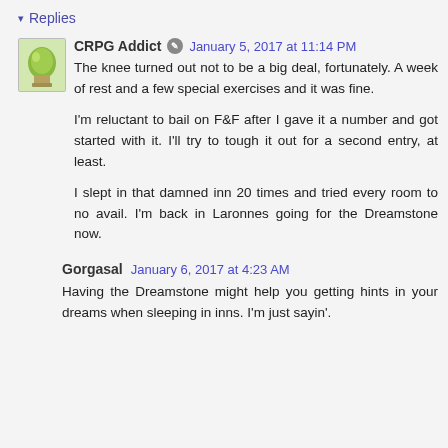▾ Replies
CRPG Addict [icon] January 5, 2017 at 11:14 PM
The knee turned out not to be a big deal, fortunately. A week of rest and a few special exercises and it was fine.

I'm reluctant to bail on F&F after I gave it a number and got started with it. I'll try to tough it out for a second entry, at least.

I slept in that damned inn 20 times and tried every room to no avail. I'm back in Laronnes going for the Dreamstone now.
Gorgasal January 6, 2017 at 4:23 AM
Having the Dreamstone might help you getting hints in your dreams when sleeping in inns. I'm just sayin'.